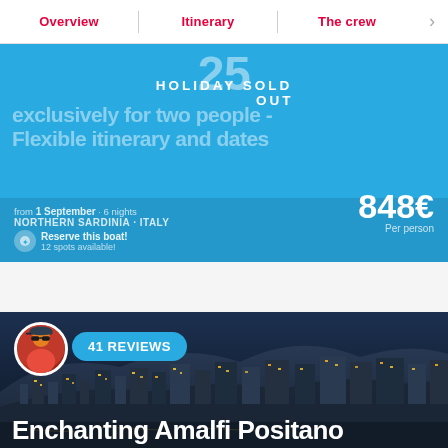Overview | Itinerary | The crew →
[Figure (screenshot): Blue holiday sold out banner with text 'exclusively for two people - Flexible itinerary and dates' overlaid with 'HOLIDAY SOLD OUT' in white block letters. Bottom shows: from 1 September · 6 nights, NORTHERN SARDINIA · ITALY, price 848€ per person, Reserve this boat! 12 spots available!]
[Figure (photo): Night photograph of an Italian coastal town (Amalfi/Positano) with illuminated buildings climbing hillside, person avatar circle and '41 REVIEWS' teal badge overlay, and bottom text 'Enchanting Amalfi Positano']